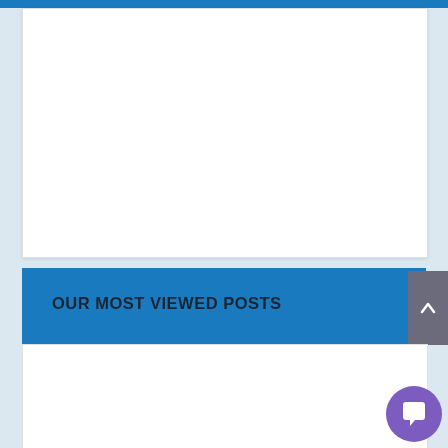[Figure (other): White content card/placeholder area at top of page]
OUR MOST VIEWED POSTS
HKTDC Hong Kong Watch & Clock Fair and Salon TE open in September
The Inaugural Longford Grand Prix Expo To Present